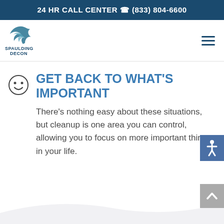24 HR CALL CENTER 📞 (833) 804-6600
[Figure (logo): Spaulding Decon logo with stylized bird/flame icon in teal and blue, with company name SPAULDING DECON below]
GET BACK TO WHAT'S IMPORTANT
There's nothing easy about these situations, but cleanup is one area you can control, allowing you to focus on more important things in your life.